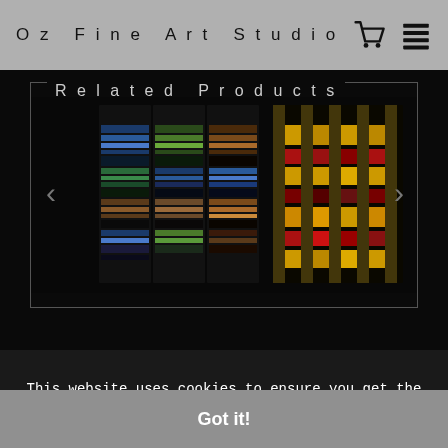Oz Fine Art Studio
Related Products
[Figure (photo): Carousel of abstract fractal art product images showing psychedelic wave patterns in blues, greens, oranges, browns, and red/yellow/gold color palettes on black backgrounds]
This website uses cookies to ensure you get the best experience on our website.
Got it!